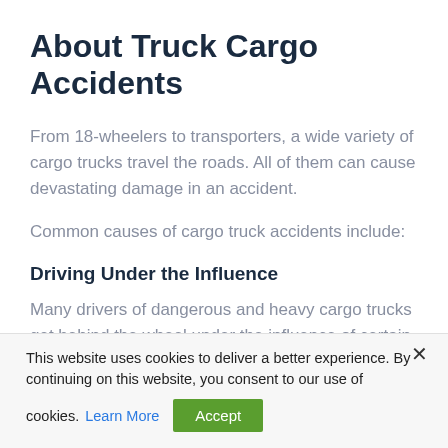About Truck Cargo Accidents
From 18-wheelers to transporters, a wide variety of cargo trucks travel the roads. All of them can cause devastating damage in an accident.
Common causes of cargo truck accidents include:
Driving Under the Influence
Many drivers of dangerous and heavy cargo trucks get behind the wheel under the influence of certain
This website uses cookies to deliver a better experience. By continuing on this website, you consent to our use of cookies. Learn More  Accept